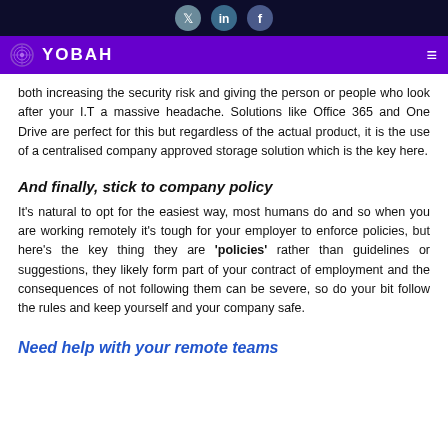YOBAH — social icons header and navigation bar
both increasing the security risk and giving the person or people who look after your I.T a massive headache. Solutions like Office 365 and One Drive are perfect for this but regardless of the actual product, it is the use of a centralised company approved storage solution which is the key here.
And finally, stick to company policy
It's natural to opt for the easiest way, most humans do and so when you are working remotely it's tough for your employer to enforce policies, but here's the key thing they are 'policies' rather than guidelines or suggestions, they likely form part of your contract of employment and the consequences of not following them can be severe, so do your bit follow the rules and keep yourself and your company safe.
Need help with your remote teams